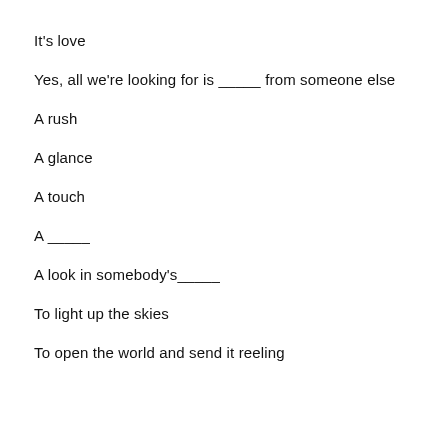It's love
Yes, all we're looking for is _____ from someone else
A rush
A glance
A touch
A _____
A look in somebody's_____
To light up the skies
To open the world and send it reeling